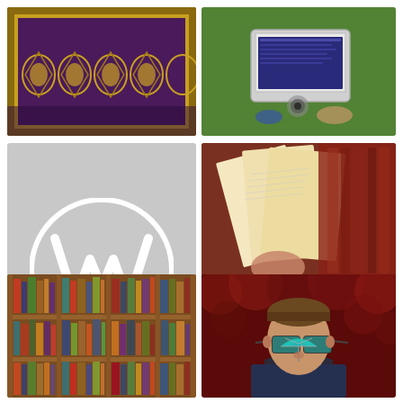[Figure (photo): Close-up of an ornate patterned rug or carpet with dark purple/maroon background and gold geometric patterns]
[Figure (photo): Aerial view of a person using a laptop outdoors on green grass]
[Figure (logo): WordPress logo — white W in circle on gray background]
[Figure (infographic): Lu's Books blog header — open book photo at top with text overlay reading LU'S BOOKS and SO MANY BOOKS SO LITTLE TIME on cream background]
[Figure (photo): Interior of a bookstore or library with tall wooden shelves filled with books]
[Figure (photo): Man wearing sunglasses with a cocktail umbrella on his nose, red foliage in background]